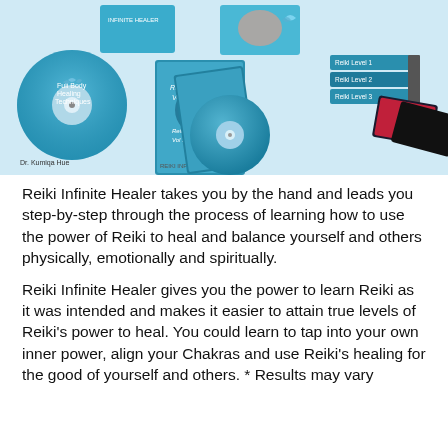[Figure (photo): Product image showing Reiki Infinite Healer course materials including CDs, DVDs, books/manuals with teal/blue covers, and bonus cards arranged as a product bundle display on a white background.]
Reiki Infinite Healer takes you by the hand and leads you step-by-step through the process of learning how to use the power of Reiki to heal and balance yourself and others physically, emotionally and spiritually.
Reiki Infinite Healer gives you the power to learn Reiki as it was intended and makes it easier to attain true levels of Reiki's power to heal. You could learn to tap into your own inner power, align your Chakras and use Reiki's healing for the good of yourself and others. * Results may vary